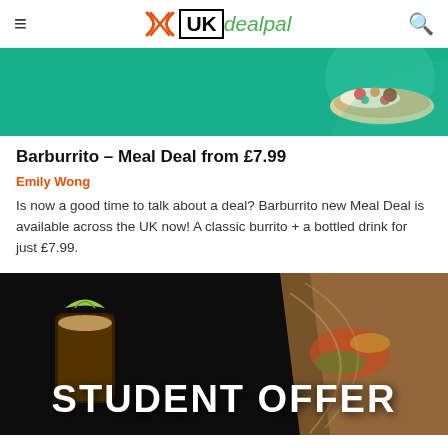UKdealpal
[Figure (photo): Burrito bowl on teal/green background, top portion visible]
Barburrito – Meal Deal from £7.99
Emily Wong
Is now a good time to talk about a deal? Barburrito new Meal Deal is available across the UK now! A classic burrito + a bottled drink for just £7.99.
[Figure (photo): Student offer promotional image: dark background with a drink glass with lime wedge and a burrito, text 'STUDENT OFFER' in large white bold letters]